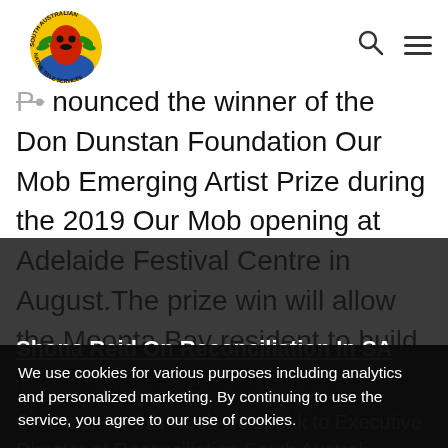[Figure (logo): South Australian Native Title Services circular logo with Aboriginal art figure and green leaves]
nounced the winner of the Don Dunstan Foundation Our Mob Emerging Artist Prize during the 2019 Our Mob opening at Adelaide Festival Centre in August.The prize win will allow the Moonta Bay resident to build her business, Lakun Mara (Weaving Hand), which focuses …
Shona Reid On Reconciliation In SA
We use cookies for various purposes including analytics and personalized marketing. By continuing to use the service, you agree to our use of cookies.
I agree   Protected by Patchstack
On the show this week we speak to Executive Director of Reconciliation South Australi...